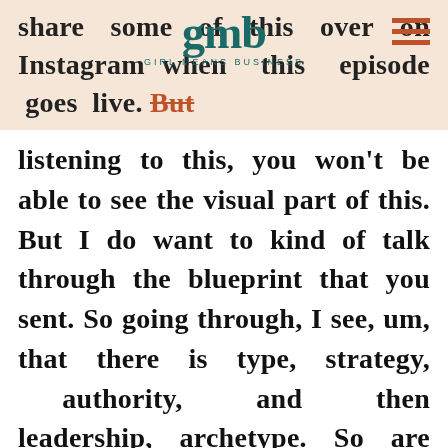share some of this over on Instagram when this episode goes live. But
[Figure (logo): GMB Girl Means Business logo in teal with decorative lettering]
listening to this, you won't be able to see the visual part of this. But I do want to kind of talk through the blueprint that you sent. So going through, I see, um, that there is type, strategy, authority, and then leadership, archetype. So are those kind of the four things that it breaks down into? Okay, so like you said, my type was generator. And so explain a little, um, bit more about you kind of